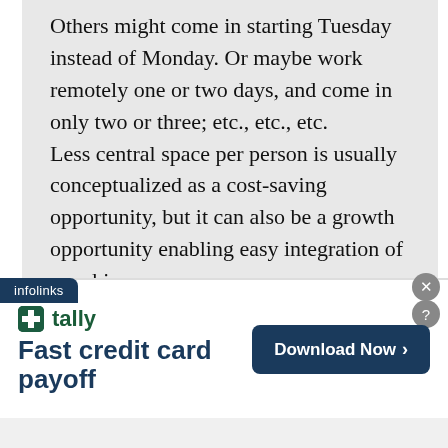Others might come in starting Tuesday instead of Monday. Or maybe work remotely one or two days, and come in only two or three; etc., etc., etc.
Less central space per person is usually conceptualized as a cost-saving opportunity, but it can also be a growth opportunity enabling easy integration of new hires.
[Figure (other): Infolinks advertisement banner for Tally app featuring logo, tagline 'Fast credit card payoff', and a 'Download Now' button with arrow.]